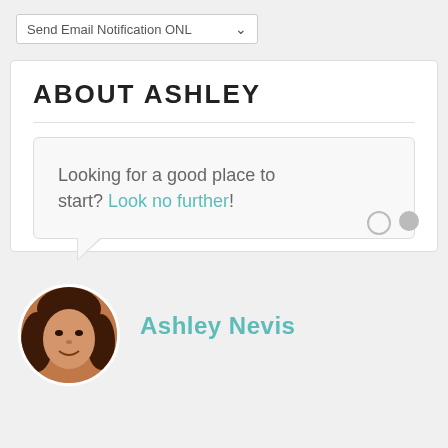[Figure (screenshot): Dropdown selector showing 'Send Email Notification ONL' with a down arrow]
ABOUT ASHLEY
Looking for a good place to start? Look no further!
[Figure (photo): Circular avatar photo of Ashley Nevis, a woman with brown hair smiling]
Ashley Nevis